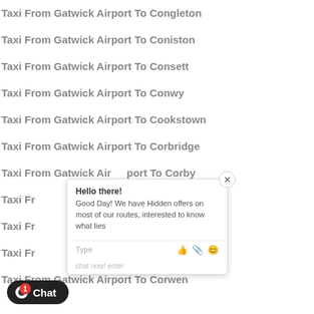Taxi From Gatwick Airport To Congleton
Taxi From Gatwick Airport To Coniston
Taxi From Gatwick Airport To Consett
Taxi From Gatwick Airport To Conwy
Taxi From Gatwick Airport To Cookstown
Taxi From Gatwick Airport To Corbridge
Taxi From Gatwick Airport To Corby
Taxi From Gatwick Airport To Cornhill-On-Tweed
Taxi From Gatwick Airport To Corrour
Taxi From Gatwick Airport To Corsham
Taxi From Gatwick Airport To Corwen